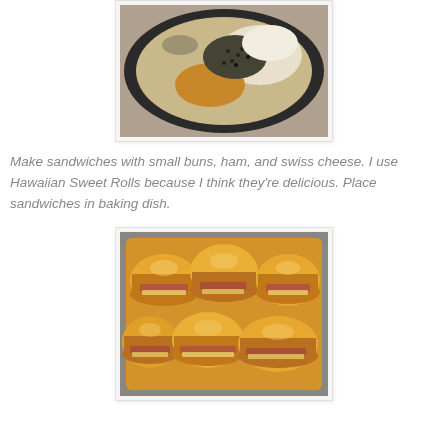[Figure (photo): A pot or pan with dry ingredients including what appears to be poppy seeds, brown sugar, and other dry spices or ingredients mixed together.]
Make sandwiches with small buns, ham, and swiss cheese. I use Hawaiian Sweet Rolls because I think they're delicious. Place sandwiches in baking dish.
[Figure (photo): A baking pan filled with small ham and cheese sliders made with Hawaiian Sweet Rolls, showing the sandwiches packed together with ham and cheese visible.]